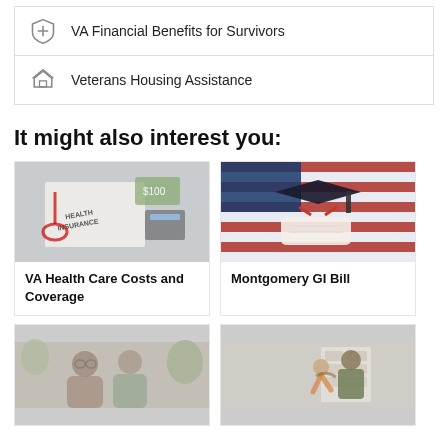VA Financial Benefits for Survivors
Veterans Housing Assistance
It might also interest you:
[Figure (photo): Health insurance paperwork with stethoscope and money]
VA Health Care Costs and Coverage
[Figure (photo): Graduation cap and diploma on American flag]
Montgomery GI Bill
[Figure (photo): Couple smiling in consultation]
[Figure (photo): Military reunion hug scene]